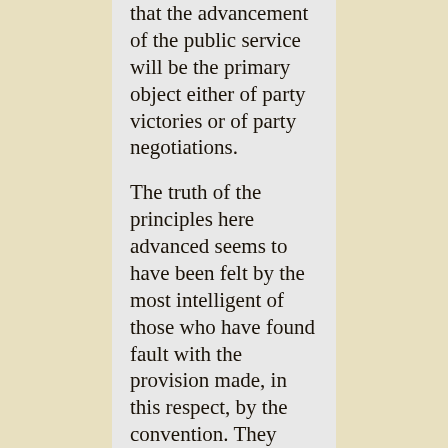that the advancement of the public service will be the primary object either of party victories or of party negotiations.
The truth of the principles here advanced seems to have been felt by the most intelligent of those who have found fault with the provision made, in this respect, by the convention. They contend that the President ought solely to have been authorized to make the appointments under the federal